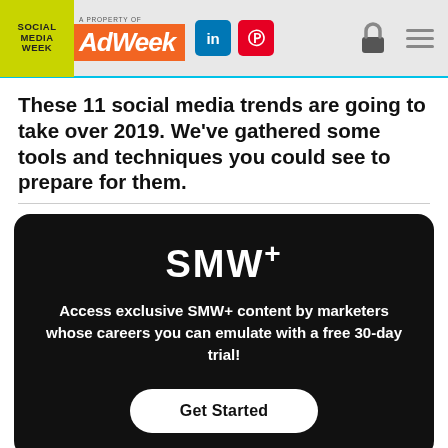Social Media Week | A Property of Adweek | LinkedIn | Pinterest
These 11 social media trends are going to take over 2019. We've gathered some tools and techniques you could see to prepare for them.
[Figure (infographic): SMW+ promotional box on black background. Shows 'SMW+' logo in large white bold text, followed by bold white text: 'Access exclusive SMW+ content by marketers whose careers you can emulate with a free 30-day trial!' and a white 'Get Started' pill button.]